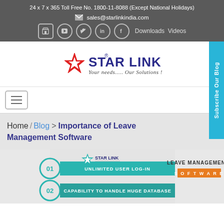24 x 7 x 365 Toll Free No. 1800-11-8088 (Except National Holidays)
sales@starlinkindia.com
[Figure (other): Social media icons: store, YouTube, Twitter, LinkedIn, Facebook, plus Downloads and Videos links]
[Figure (logo): Star Link logo with red star and text 'STAR LINK' in navy, tagline: Your needs.... Our Solutions!]
[Figure (other): Hamburger navigation menu button]
Home / Blog > Importance of Leave Management Software
[Figure (infographic): Leave Management Software infographic showing Star Link branding with numbered features: 01 UNLIMITED USER LOG-IN, 02 CAPABILITY TO HANDLE HUGE DATABASE]
Subscribe Our Blog